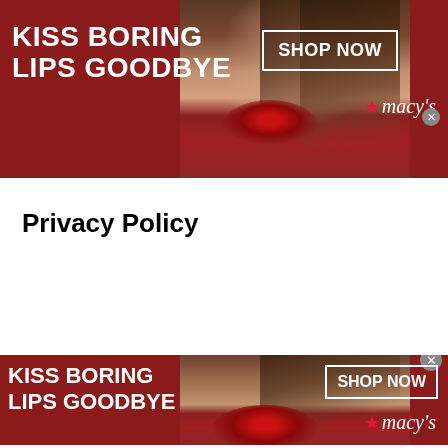[Figure (photo): Macy's advertisement banner showing a woman with red lipstick, text 'KISS BORING LIPS GOODBYE', 'SHOP NOW' button, and Macy's logo (top banner)]
Privacy Policy
[Figure (photo): Macy's advertisement banner showing a woman with red lipstick, text 'KISS BORING LIPS GOODBYE', 'SHOP NOW' button, and Macy's logo (bottom banner)]